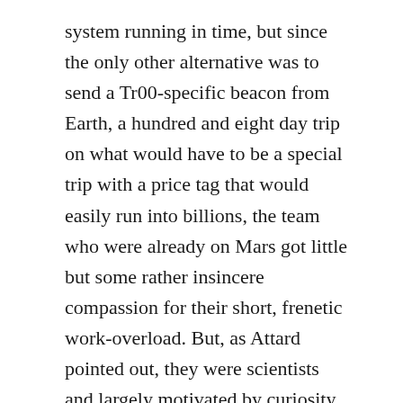system running in time, but since the only other alternative was to send a Tr00-specific beacon from Earth, a hundred and eight day trip on what would have to be a special trip with a price tag that would easily run into billions, the team who were already on Mars got little but some rather insincere compassion for their short, frenetic work-overload. But, as Attard pointed out, they were scientists and largely motivated by curiosity – and in this instance curiosity would be a powerful motivator; so he was sure with his inexorable logic, that no bonuses need be forthcoming.
As it happened. He was completely correct. As Rygard groused to Monica Kahn, “There’s nothing to spend it on out here anyway.” Monica, who could get blood out